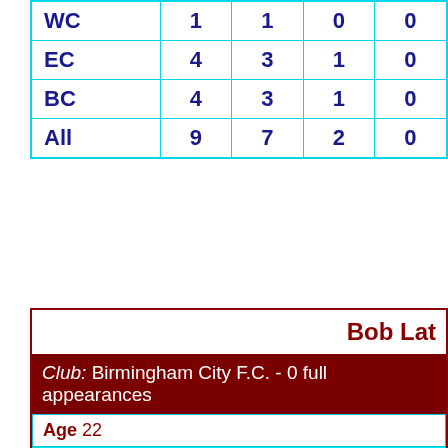|  |  |  |  |  |
| --- | --- | --- | --- | --- |
| WC | 1 | 1 | 0 | 0 |
| EC | 4 | 3 | 1 | 0 |
| BC | 4 | 3 | 1 | 0 |
| All | 9 | 7 | 2 | 0 |
Bob Lat
Club: Birmingham City F.C. - 0 full appearances
|  |  |  |
| --- | --- | --- |
| Age 22 |  |  |
| 1 | u23 | 13 November 1973 - England 1 De... |
| 2 | u23 | 16 January 1974 - England 0... |
| Age 23 |  |  |
| 3 | u23 | 13 March 1974 - England 2 Scotland... Ty... |
|  |  |  |
| 4 | u23 | 11 May 1974 - Turkey 0 Englan... |